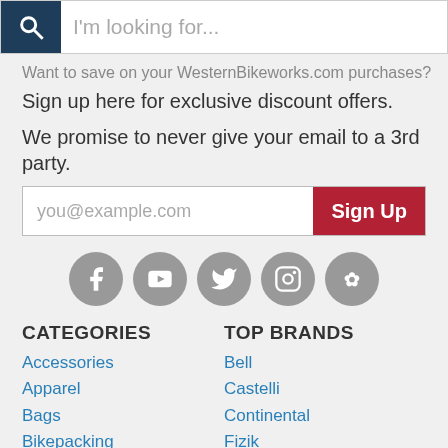[Figure (screenshot): Search bar with magnifying glass icon and placeholder text 'I'm looking for...']
Want to save on your WesternBikeworks.com purchases?
Sign up here for exclusive discount offers.
We promise to never give your email to a 3rd party.
you@example.com  Sign Up
[Figure (infographic): Social media icons: Facebook, YouTube, Twitter, Instagram, Yelp]
CATEGORIES
Accessories
Apparel
Bags
Bikepacking
Bikes, Frames, Forks
Components
Eyewear
Hydration, Nutrition
Helmets
TOP BRANDS
Bell
Castelli
Continental
Fizik
Garmin
Giro
Kenda
Mavic
Michelin